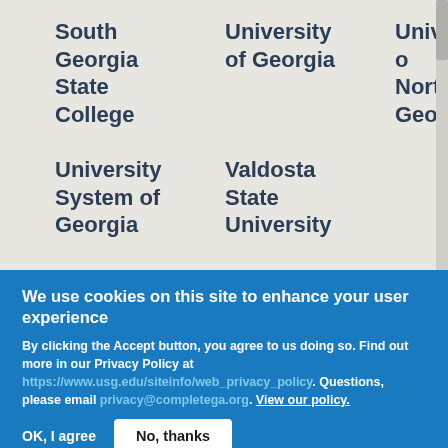South Georgia State College
University of Georgia
University of North Georgia
University System of Georgia
Valdosta State University
We use cookies on this site to enhance your user experience
By clicking the Accept button, you agree to us doing so. Find out more in our Privacy Policy at https://www.usg.edu/siteinfo/web_privacy_policy. Questions, please email privacy@completega.org. View our policy.
OK, I agree
No, thanks